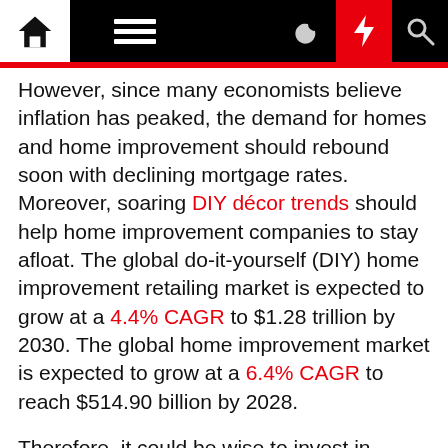[Navigation bar with home, menu, moon, bolt, search icons]
However, since many economists believe inflation has peaked, the demand for homes and home improvement should rebound soon with declining mortgage rates. Moreover, soaring DIY décor trends should help home improvement companies to stay afloat. The global do-it-yourself (DIY) home improvement retailing market is expected to grow at a 4.4% CAGR to $1.28 trillion by 2030. The global home improvement market is expected to grow at a 6.4% CAGR to reach $514.90 billion by 2028.
Therefore, it could be wise to invest in beaten-down home improvement stocks Arhaus, Inc. (ARHS), Tile Shop Holdings, Inc. (TTSH), Kingfisher plc (KGFHY), Haverty Furniture Companies, Inc. (HVT), and Builders FirstSource, Inc. (BLDR), which possess sound fundamentals and solid growth prospects.